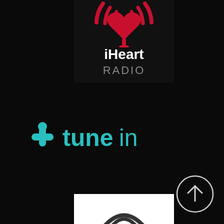[Figure (logo): iHeartRadio logo: black background with red heart/radio wave icon above white bold text 'iHeart' and gray text 'RADIO']
[Figure (logo): TuneIn logo: teal colored person icon with headphone cross shape followed by 'tunein' text in teal on black background]
[Figure (other): Circular up-arrow button with light gray/white outline circle and upward arrow inside, on black background]
[Figure (logo): Partial white background box at bottom center with partial circular logo visible, appears to be another streaming service logo]